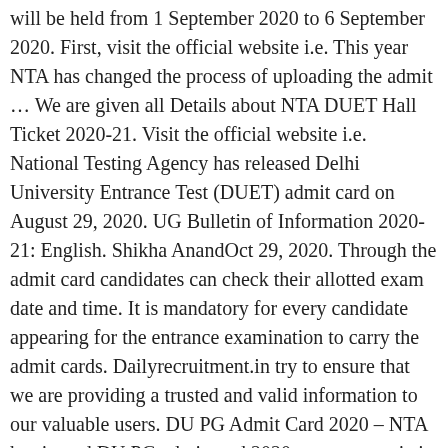will be held from 1 September 2020 to 6 September 2020. First, visit the official website i.e. This year NTA has changed the process of uploading the admit … We are given all Details about NTA DUET Hall Ticket 2020-21. Visit the official website i.e. National Testing Agency has released Delhi University Entrance Test (DUET) admit card on August 29, 2020. UG Bulletin of Information 2020-21: English. Shikha AnandOct 29, 2020. Through the admit card candidates can check their allotted exam date and time. It is mandatory for every candidate appearing for the entrance examination to carry the admit cards. Dailyrecruitment.in try to ensure that we are providing a trusted and valid information to our valuable users. DU PG Admit Card 2020 – NTA has issued DU PG admit card 2020. ugcnet.nta.nic.in Step 2. The University of Delhi, informally known as Delhi University (DU), is a collegiate public central university, located in New Delhi, India. ICAR NTA Admit Card 2020 » National Testing Agency (NTA) has released the notification for Admit Card, Examination Date, Exam Venue & Hall Ticket. It is scheduled on August, 2020. NTA DUET Admit Card 2020-21 Delhi University Entrance Test Admit Card 2020 d...